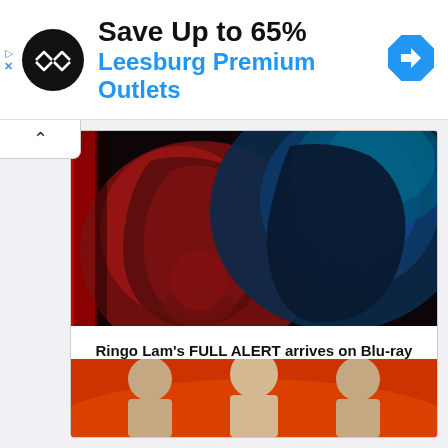[Figure (screenshot): Advertisement banner: circular black logo with arrows icon, text 'Save Up to 65%' in black bold and 'Leesburg Premium Outlets' in blue, blue diamond navigation icon on right. Small play and X icons on far left.]
[Figure (photo): Blu-ray cover art for 'Full Alert' showing two faces in profile lit with red and blue dramatic lighting against a dark background.]
Ringo Lam's FULL ALERT arrives on Blu-ray October 2021
[Figure (photo): Bottom portion of another movie cover with orange-red background showing people.]